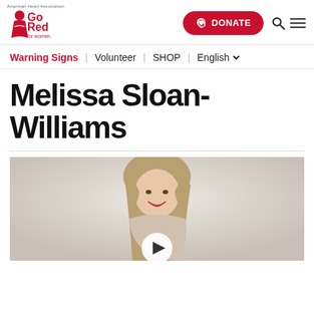American Heart Association | Go Red for Women — DONATE | Warning Signs | Volunteer | SHOP | English
Melissa Sloan-Williams
[Figure (photo): Portrait photo of Melissa Sloan-Williams, a smiling blonde woman, with a video play button overlay at the bottom center]